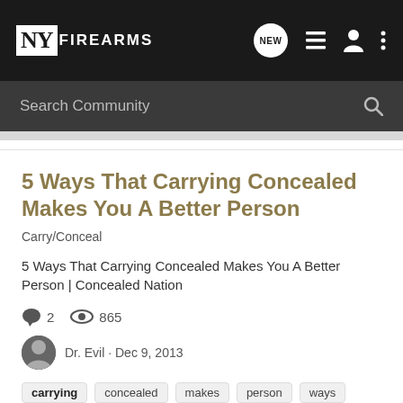NY FIREARMS — navigation bar with search
5 Ways That Carrying Concealed Makes You A Better Person
Carry/Conceal
5 Ways That Carrying Concealed Makes You A Better Person | Concealed Nation
2 comments · 865 views · Dr. Evil · Dec 9, 2013
carrying
concealed
makes
person
ways
Caught someone carrying today
Carry/Conceal